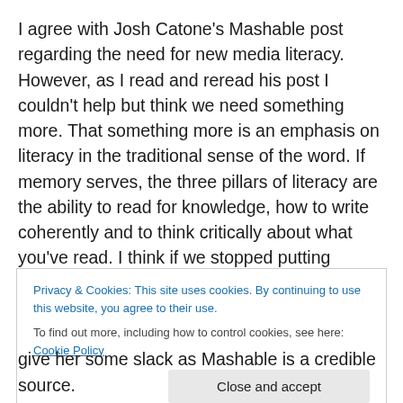I agree with Josh Catone's Mashable post regarding the need for new media literacy. However, as I read and reread his post I couldn't help but think we need something more. That something more is an emphasis on literacy in the traditional sense of the word. If memory serves, the three pillars of literacy are the ability to read for knowledge, how to write coherently and to think critically about what you've read. I think if we stopped putting shallow qualifiers on literacy then people might be equipped to know when something they've read needs
Privacy & Cookies: This site uses cookies. By continuing to use this website, you agree to their use.
To find out more, including how to control cookies, see here: Cookie Policy
give her some slack as Mashable is a credible source.